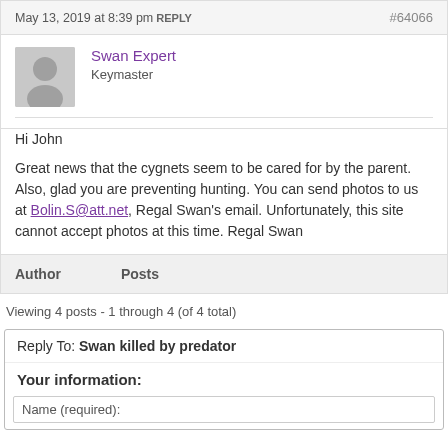May 13, 2019 at 8:39 pm REPLY  #64066
Swan Expert
Keymaster
Hi John
Great news that the cygnets seem to be cared for by the parent. Also, glad you are preventing hunting. You can send photos to us at Bolin.S@att.net, Regal Swan's email. Unfortunately, this site cannot accept photos at this time. Regal Swan
Author    Posts
Viewing 4 posts - 1 through 4 (of 4 total)
Reply To: Swan killed by predator
Your information:
Name (required):